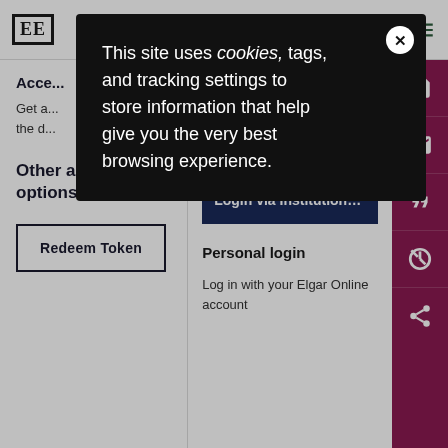[Figure (screenshot): Edward Elgar publisher logo: EE in bold serif font inside a rectangular border]
Acce...
Get a... the d...
Other access options
[Figure (screenshot): Redeem Token button with dark navy border]
Institutional Login
Log in with Open Athens, Shib... or your institutional credenti...
[Figure (screenshot): Login via Institutional A... button in dark navy]
Personal login
Log in with your Elgar Online account
This site uses cookies, tags, and tracking settings to store information that help give you the very best browsing experience.